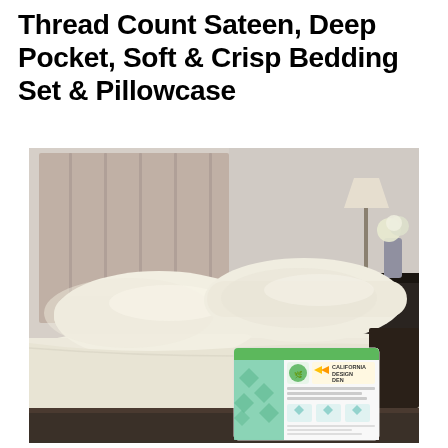Thread Count Sateen, Deep Pocket, Soft & Crisp Bedding Set & Pillowcase
[Figure (photo): A bed with cream/ivory colored sheets and two pillows with matching pillowcases, featuring a padded headboard and a bedside table in the background. A product box for 'California Design Den' sheet set is shown in the lower right of the image.]